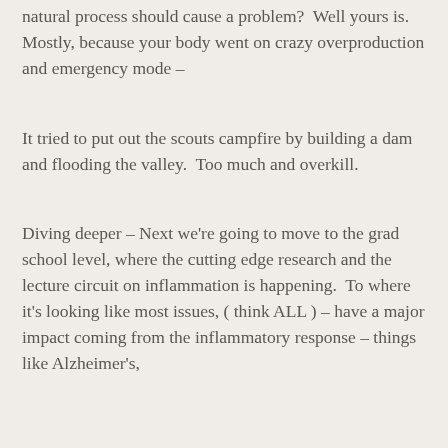natural process should cause a problem?  Well yours is. Mostly, because your body went on crazy overproduction and emergency mode –
It tried to put out the scouts campfire by building a dam and flooding the valley.  Too much and overkill.
Diving deeper – Next we're going to move to the grad school level, where the cutting edge research and the lecture circuit on inflammation is happening.  To where it's looking like most issues, ( think ALL ) – have a major impact coming from the inflammatory response – things like Alzheimer's,